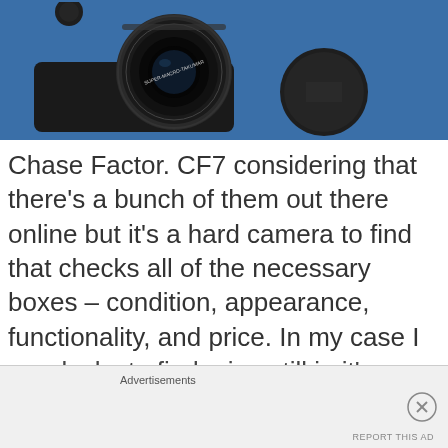[Figure (photo): Close-up photo of a black camera lens (MACRO-TAKUMAR) with lens cap, on a blue background]
Chase Factor. CF7 considering that there's a bunch of them out there online but it's a hard camera to find that checks all of the necessary boxes – condition, appearance, functionality, and price. In my case I was lucky to find mine still in it's
Advertisements